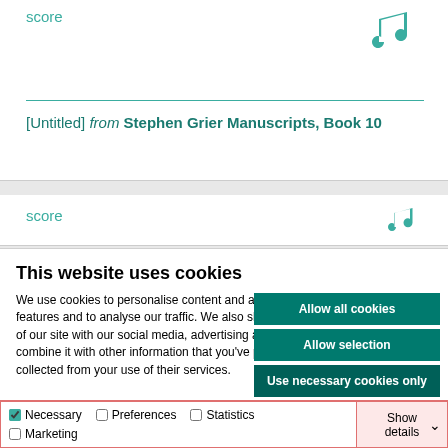score
[Untitled] from Stephen Grier Manuscripts, Book 10
score
This website uses cookies
We use cookies to personalise content and ads, to provide social media features and to analyse our traffic. We also share information about your use of our site with our social media, advertising and analytics partners who may combine it with other information that you've provided to them or that they've collected from your use of their services.
Allow all cookies
Allow selection
Use necessary cookies only
Necessary  Preferences  Statistics  Marketing  Show details